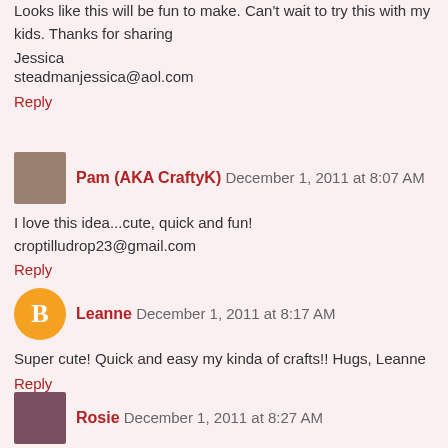Looks like this will be fun to make. Can't wait to try this with my kids. Thanks for sharing
Jessica
steadmanjessica@aol.com
Reply
Pam (AKA CraftyK)  December 1, 2011 at 8:07 AM
I love this idea...cute, quick and fun!
croptilludrop23@gmail.com
Reply
Leanne  December 1, 2011 at 8:17 AM
Super cute! Quick and easy my kinda of crafts!! Hugs, Leanne
Reply
Rosie  December 1, 2011 at 8:27 AM
what a great way to decoate a binder clip!!!